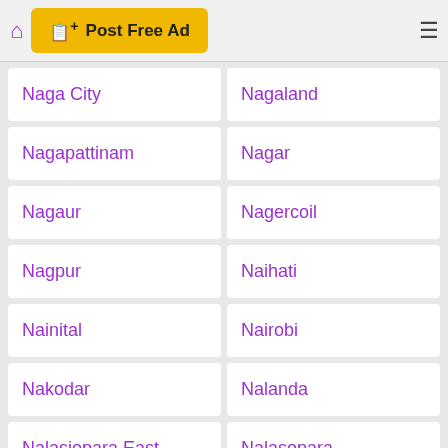Post Free Ad
Naga City
Nagaland
Nagapattinam
Nagar
Nagaur
Nagercoil
Nagpur
Naihati
Nainital
Nairobi
Nakodar
Nalanda
Nalasiopara East
Nalasopara